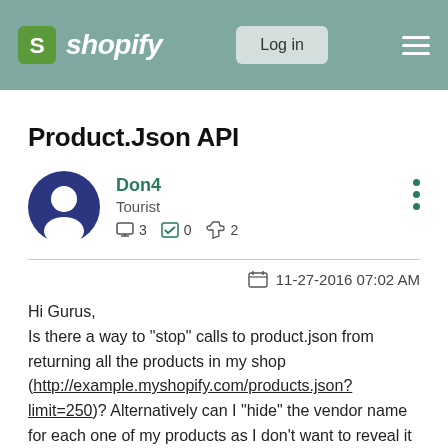shopify — Log in
Product.Json API
Don4
Tourist
☐ 3   ☑ 0   👍 2
11-27-2016 07:02 AM
Hi Gurus,
Is there a way to "stop" calls to product.json from returning all the products in my shop (http://example.myshopify.com/products.json?limit=250)? Alternatively can I "hide" the vendor name for each one of my products as I don't want to reveal it to my